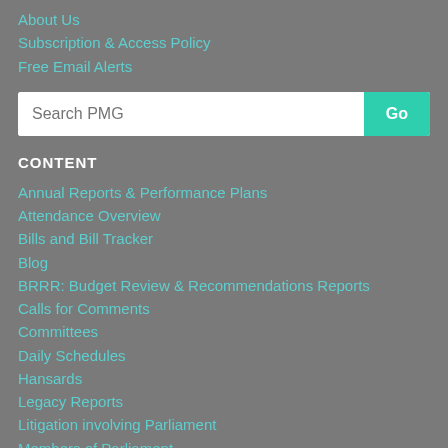About Us
Subscription & Access Policy
Free Email Alerts
CONTENT
Annual Reports & Performance Plans
Attendance Overview
Bills and Bill Tracker
Blog
BRRR: Budget Review & Recommendations Reports
Calls for Comments
Committees
Daily Schedules
Hansards
Legacy Reports
Litigation involving Parliament
Members of Parliament
Register of Members' Interests
Media Briefings
Policy Documents